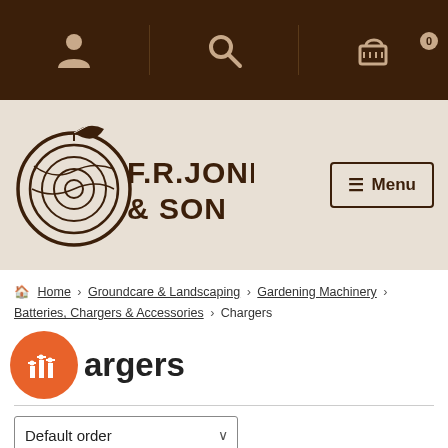Navigation bar with person icon, search icon, and cart icon (0 items)
[Figure (logo): F.R. Jones & Son logo — tree cross-section with leaf, brown on tan background, with Menu button]
Home › Groundcare & Landscaping › Gardening Machinery › Batteries, Chargers & Accessories › Chargers
Chargers
Default order
Showing 1–12 of 36 results